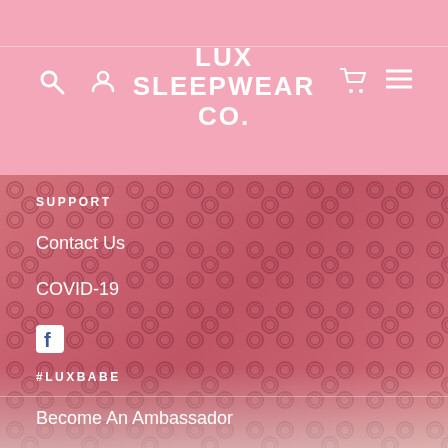LUX SLEEPWEAR CO.
[Figure (screenshot): Website header with pink background showing LUX SLEEPWEAR CO. logo centered, search and user icons on the left, cart and menu icons on the right]
[Figure (photo): Pink satin Gucci-style GG monogram print pajama set (top and pants) laid on white fur background]
SUPPORT
Contact Us
COVID-19
[Figure (logo): Facebook icon (white F on dark square)]
#LUXBABE
Become An Ambassador